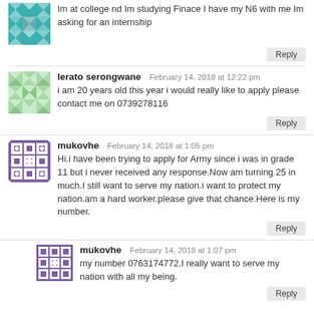Im at college nd Im studying Finace I have my N6 with me Im asking for an internship
Reply
lerato serongwane — February 14, 2018 at 12:22 pm
i am 20 years old this year i would really like to apply please contact me on 0739278116
Reply
mukovhe — February 14, 2018 at 1:05 pm
Hi.i have been trying to apply for Army since i was in grade 11 but i never received any response.Now am turning 25 in much.I still want to serve my nation.i want to protect my nation.am a hard worker.please give that chance.Here is my number.
Reply
mukovhe — February 14, 2018 at 1:07 pm
my number 0763174772.I really want to serve my nation with all my being.
Reply